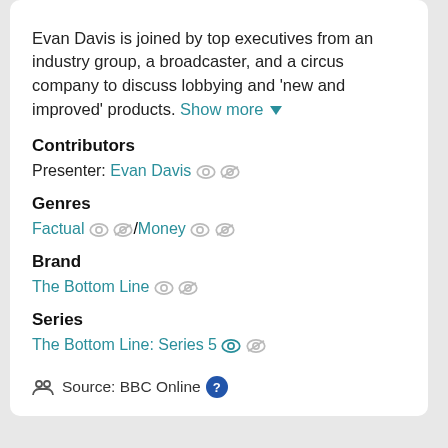Evan Davis is joined by top executives from an industry group, a broadcaster, and a circus company to discuss lobbying and 'new and improved' products. Show more
Contributors
Presenter: Evan Davis
Genres
Factual / Money
Brand
The Bottom Line
Series
The Bottom Line: Series 5
Source: BBC Online